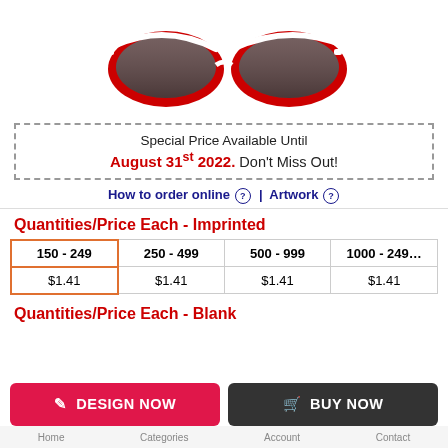[Figure (photo): Red and white wayfarer-style sunglasses product image, partially cropped at top]
Special Price Available Until August 31st 2022. Don't Miss Out!
How to order online ? | Artwork ?
Quantities/Price Each - Imprinted
| 150 - 249 | 250 - 499 | 500 - 999 | 1000 - 249... |
| --- | --- | --- | --- |
| $1.41 | $1.41 | $1.41 | $1.41 |
Quantities/Price Each - Blank
DESIGN NOW
BUY NOW
Home   Categories   Account   Contact